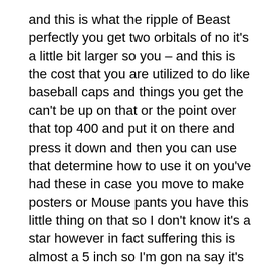and this is what the ripple of Beast perfectly you get two orbitals of no it's a little bit larger so you – and this is the cost that you are utilized to do like baseball caps and things you get the can't be up on that or the point over that top 400 and put it on there and press it down and then you can use that determine how to use it on you've had these in case you move to make posters or Mouse pants you have this little thing on that so I don't know it's a star however in fact suffering this is almost a 5 inch so I'm gon na say it's a little bit like four and 3 quarters and this one is 6 inches so four 6 eight pieces and then Business Representatives that's how it can be found in package and it featured.